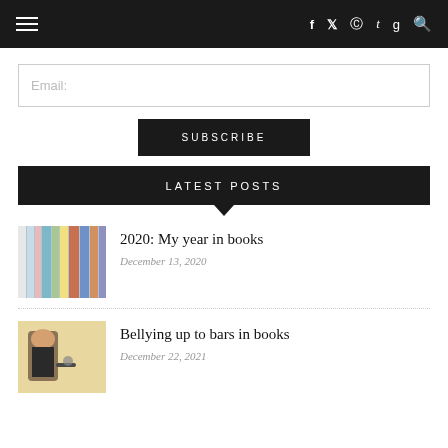Navigation bar with hamburger menu and social icons: f, Twitter, Pinterest, t, g, and search
Email:
SUBSCRIBE
LATEST POSTS
[Figure (photo): Thumbnail of colorful books on a shelf]
2020: My year in books
December 13, 2020
[Figure (photo): Thumbnail of a person sitting at a bar, illustration style]
Bellying up to bars in books
December 22, 2021